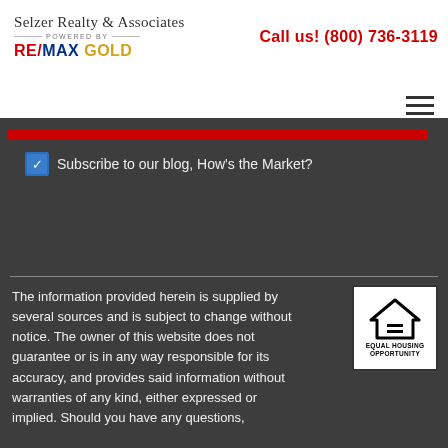Selzer Realty & Associates powered by RE/MAX GOLD — Call us! (800) 736-3119
[Figure (logo): Selzer Realty & Associates powered by RE/MAX GOLD logo]
Call us! (800) 736-3119
Subscribe to our blog, How's the Market?
The information provided herein is supplied by several sources and is subject to change without notice. The owner of this website does not guarantee or is in any way responsible for its accuracy, and provides said information without warranties of any kind, either expressed or implied. Should you have any questions,
[Figure (logo): Equal Housing Opportunity logo]